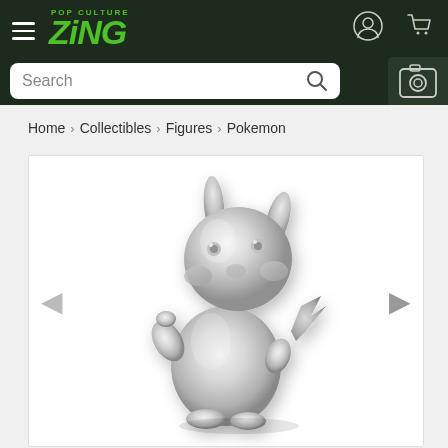Zing Pop Culture - Navigation header with hamburger menu, logo, account and cart icons, and search bar
Home > Collectibles > Figures > Pokemon
[Figure (photo): Silver/chrome metallic Pikachu Pokemon collectible figure facing slightly left, with arms raised, shiny reflective surface, white background]